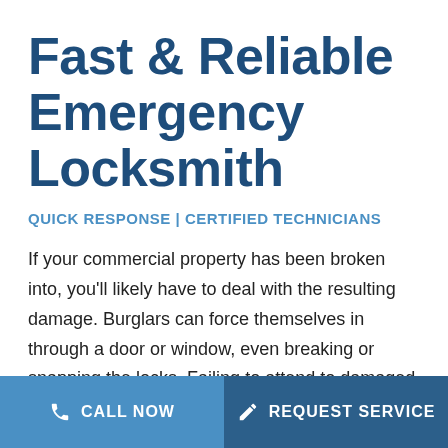Fast & Reliable Emergency Locksmith
QUICK RESPONSE | CERTIFIED TECHNICIANS
If your commercial property has been broken into, you'll likely have to deal with the resulting damage. Burglars can force themselves in through a door or window, even breaking or snapping the locks. Failing to attend to damaged or non-functional
CALL NOW | REQUEST SERVICE